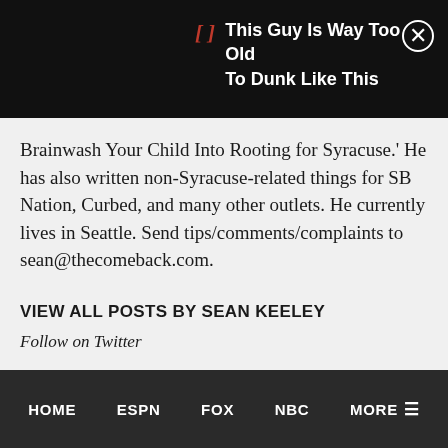[Figure (screenshot): Ad banner with red bracket icon and text 'This Guy Is Way Too Old To Dunk Like This' on black background with close button]
Brainwash Your Child Into Rooting for Syracuse.' He has also written non-Syracuse-related things for SB Nation, Curbed, and many other outlets. He currently lives in Seattle. Send tips/comments/complaints to sean@thecomeback.com.
VIEW ALL POSTS BY SEAN KEELEY
Follow on Twitter
HOME  ESPNFOX  NBC  MORE